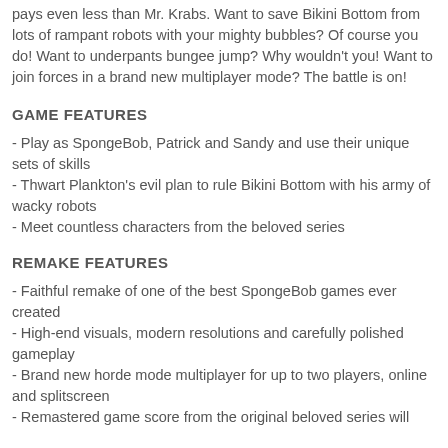pays even less than Mr. Krabs. Want to save Bikini Bottom from lots of rampant robots with your mighty bubbles? Of course you do! Want to underpants bungee jump? Why wouldn't you! Want to join forces in a brand new multiplayer mode? The battle is on!
GAME FEATURES
- Play as SpongeBob, Patrick and Sandy and use their unique sets of skills
- Thwart Plankton's evil plan to rule Bikini Bottom with his army of wacky robots
- Meet countless characters from the beloved series
REMAKE FEATURES
- Faithful remake of one of the best SpongeBob games ever created
- High-end visuals, modern resolutions and carefully polished gameplay
- Brand new horde mode multiplayer for up to two players, online and splitscreen
- Remastered game score from the original beloved series will